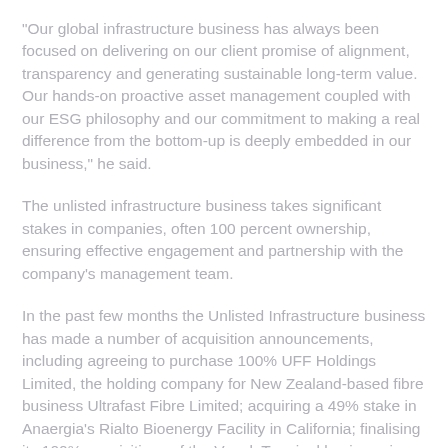“Our global infrastructure business has always been focused on delivering on our client promise of alignment, transparency and generating sustainable long-term value. Our hands-on proactive asset management coupled with our ESG philosophy and our commitment to making a real difference from the bottom-up is deeply embedded in our business,” he said.
The unlisted infrastructure business takes significant stakes in companies, often 100 percent ownership, ensuring effective engagement and partnership with the company’s management team.
In the past few months the Unlisted Infrastructure business has made a number of acquisition announcements, including agreeing to purchase 100% UFF Holdings Limited, the holding company for New Zealand-based fibre business Ultrafast Fibre Limited; acquiring a 49% stake in Anaergia’s Rialto Bioenergy Facility in California; finalising its 100% acquisitions of the Vopak Terminal business in Algeciras